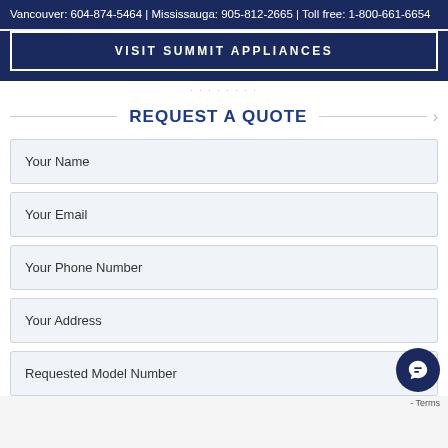Vancouver: 604-874-5464 | Mississauga: 905-812-2665 | Toll free: 1-800-661-6654
[Figure (screenshot): Dark navy banner with 'VISIT SUMMIT APPLIANCES' button outlined in white]
REQUEST A QUOTE
Your Name
Your Email
Your Phone Number
Your Address
Requested Model Number